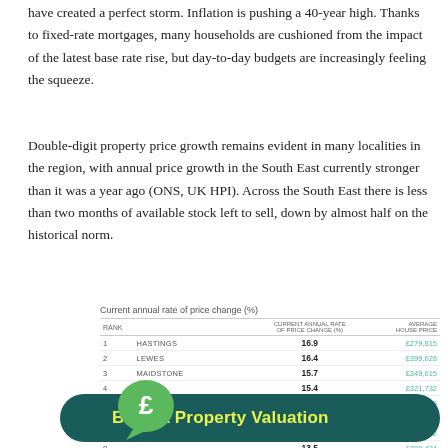have created a perfect storm. Inflation is pushing a 40-year high. Thanks to fixed-rate mortgages, many households are cushioned from the impact of the latest base rate rise, but day-to-day budgets are increasingly feeling the squeeze.
Double-digit property price growth remains evident in many localities in the region, with annual price growth in the South East currently stronger than it was a year ago (ONS, UK HPI). Across the South East there is less than two months of available stock left to sell, down by almost half on the historical norm.
Current annual rate of price change (%)
| RANK |  | CURRENT ANNUAL RATE OF PRICE CHANGE (%) | AVERAGE HOUSE PRICE |
| --- | --- | --- | --- |
| 1 | HASTINGS | 16.9 | £279,815 |
| 2 | LEWES | 16.4 | £399,628 |
| 3 | MAIDSTONE | 15.7 | £349,615 |
| 4 | DOVER | 15.4 | £321,732 |
| 5 | WEALDEN | 15.0 | £416,806 |
| 6 | THANET | 14.8 | £304,572 |
| 7 | FOLKESTONE AND HYTHE | 14.4 | £316,142 |
| 8 |  | 13.5 | £299,434 |
| 9 |  | 13.4 | £339,888 |
| 10 |  |  |  |
| 11 |  |  |  |
| 12 |  |  |  |
| 13 | DARTFORD | 11.7 | £360,255 |
[Figure (other): Green speech bubble with pound sign icon and teal banner reading 'Book a Property Valuation']